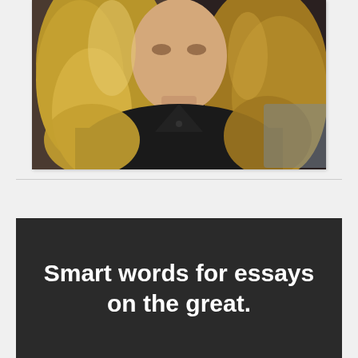[Figure (photo): Portrait photo of a woman with long blonde hair wearing a black jacket, photographed from the shoulders up against a dark background.]
Smart words for essays on the great.